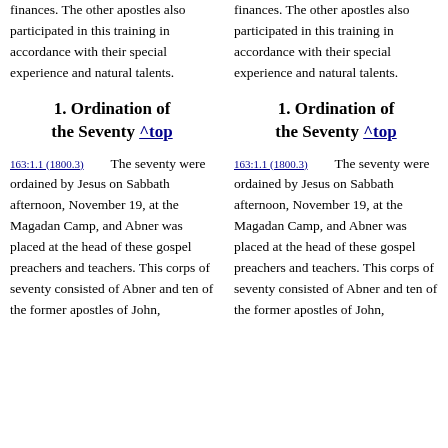finances. The other apostles also participated in this training in accordance with their special experience and natural talents.
1. Ordination of the Seventy ^top
163:1.1 (1800.3)   The seventy were ordained by Jesus on Sabbath afternoon, November 19, at the Magadan Camp, and Abner was placed at the head of these gospel preachers and teachers. This corps of seventy consisted of Abner and ten of the former apostles of John,
finances. The other apostles also participated in this training in accordance with their special experience and natural talents.
1. Ordination of the Seventy ^top
163:1.1 (1800.3)   The seventy were ordained by Jesus on Sabbath afternoon, November 19, at the Magadan Camp, and Abner was placed at the head of these gospel preachers and teachers. This corps of seventy consisted of Abner and ten of the former apostles of John,